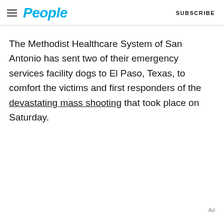People | SUBSCRIBE
The Methodist Healthcare System of San Antonio has sent two of their emergency services facility dogs to El Paso, Texas, to comfort the victims and first responders of the devastating mass shooting that took place on Saturday.
Ad